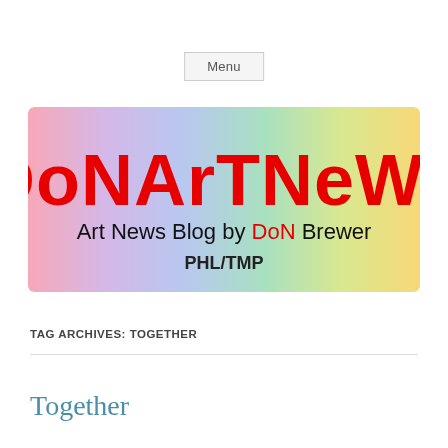Menu
[Figure (logo): DoNArTNeWs logo banner with rainbow gradient background. Bold red text 'DoNArTNeWs' at top, subtitle 'Art News Blog by DoN Brewer' with 'DoN' in red, and 'PHL/TMP' below in dark text.]
TAG ARCHIVES: TOGETHER
Together